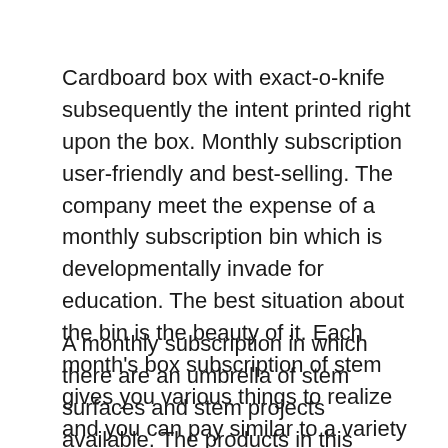Cardboard box with exact-o-knife subsequently the intent printed right upon the box. Monthly subscription user-friendly and best-selling. The company meet the expense of a monthly subscription bin which is developmentally invade for education. The best situation about the bin is the beauty of it. Each month's box subscription of stem gives you various things to realize and you can pay similar to a variety of methods.
A monthly subscription in which there are an umbrella of stem surfaces and stem projects available. The products in this subscription are less inventive but if you treat the